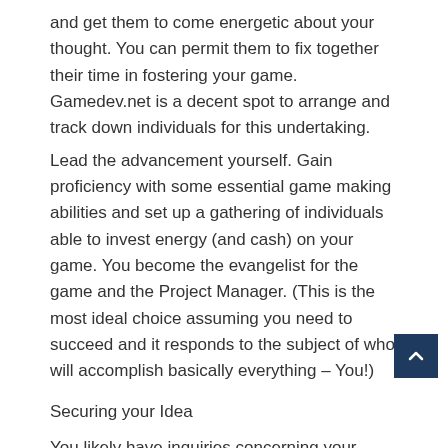and get them to come energetic about your thought. You can permit them to fix together their time in fostering your game. Gamedev.net is a decent spot to arrange and track down individuals for this undertaking.
Lead the advancement yourself. Gain proficiency with some essential game making abilities and set up a gathering of individuals able to invest energy (and cash) on your game. You become the evangelist for the game and the Project Manager. (This is the most ideal choice assuming you need to succeed and it responds to the subject of who will accomplish basically everything – You!)
Securing your Idea
You likely have inquiries concerning your thought how to shield it from being taken. Indeed, I surmise this is a possibility and we will discuss it more, as it